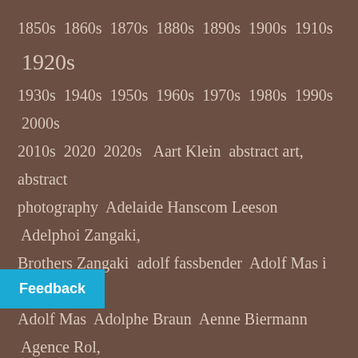1850s  1860s  1870s  1880s  1890s  1900s  1910s  1920s  1930s  1940s  1950s  1960s  1970s  1980s  1990s  2000s  2010s  2020  2020s  Aart Klein  abstract art, abstract photography  Adelaide Hanscom Leeson  Adelphoi Zangaki, Brothers Zangaki  adolf fassbender  Adolf Mas i Ginestà, Adolf Mas  Adolphe Braun  Aenne Biermann  Agence Rol, Marcel Rol  Alban Studio  Albarran Cabrera, Ángel Albarrán, Ana Cabrera  Albert Arthur Allen  Albert Renger-Patzsch, Albert Renger Patzsch  Albert Rudomine  Alexander Danilovich Grinberg, Aleksander Grinberg, Alexander Grinberg  Alexander Hackenschmied, Alexander Hammid  Alexander Rodchenko  Alexandre de Riquer  Alexey Titarenko  Alfred Cheney Johnston  Alfred Stieglitz  Alfred Gescheidt  Alfred Noyer  alfred nybom  Álvarez  Alice Boughton  Alphonse Mucha, Alfons Maria Mucha  Alvin Langdon Coburn  Anatoly Zhivago  A
Feedback